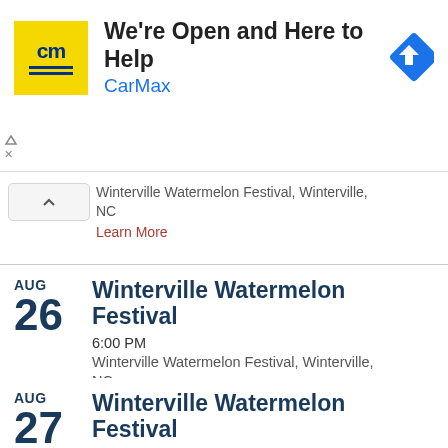[Figure (screenshot): CarMax advertisement banner: yellow square logo with 'cm' text, headline 'We're Open and Here to Help', brand 'CarMax', and a blue navigation diamond icon.]
Winterville Watermelon Festival, Winterville, NC
Learn More
AUG 26
Winterville Watermelon Festival
6:00 PM
Winterville Watermelon Festival, Winterville, NC
Learn More
AUG 27
Winterville Watermelon Festival
8:00 AM